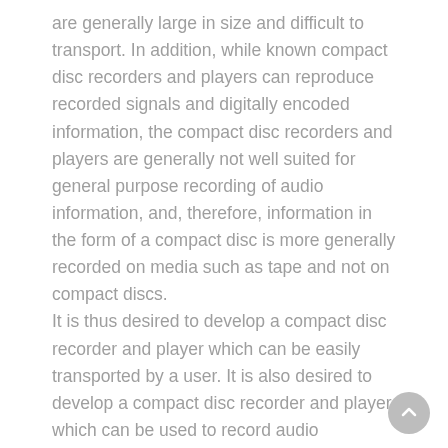are generally large in size and difficult to transport. In addition, while known compact disc recorders and players can reproduce recorded signals and digitally encoded information, the compact disc recorders and players are generally not well suited for general purpose recording of audio information, and, therefore, information in the form of a compact disc is more generally recorded on media such as tape and not on compact discs.
It is thus desired to develop a compact disc recorder and player which can be easily transported by a user. It is also desired to develop a compact disc recorder and player which can be used to record audio information on compact discs.This invention relates generally to video/audio recording apparatus and, more particularly, to an apparatus for recording such signals onto magnetic tape in a helical scanning format.
It is known in the prior art that various signals, such as television broadcast signals, can be converted to magnetic